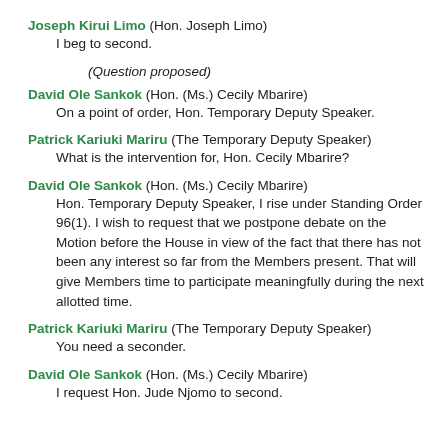Joseph Kirui Limo (Hon. Joseph Limo)
  I beg to second.
(Question proposed)
David Ole Sankok (Hon. (Ms.) Cecily Mbarire)
  On a point of order, Hon. Temporary Deputy Speaker.
Patrick Kariuki Mariru (The Temporary Deputy Speaker)
  What is the intervention for, Hon. Cecily Mbarire?
David Ole Sankok (Hon. (Ms.) Cecily Mbarire)
  Hon. Temporary Deputy Speaker, I rise under Standing Order 96(1). I wish to request that we postpone debate on the Motion before the House in view of the fact that there has not been any interest so far from the Members present. That will give Members time to participate meaningfully during the next allotted time.
Patrick Kariuki Mariru (The Temporary Deputy Speaker)
  You need a seconder.
David Ole Sankok (Hon. (Ms.) Cecily Mbarire)
  I request Hon. Jude Njomo to second.